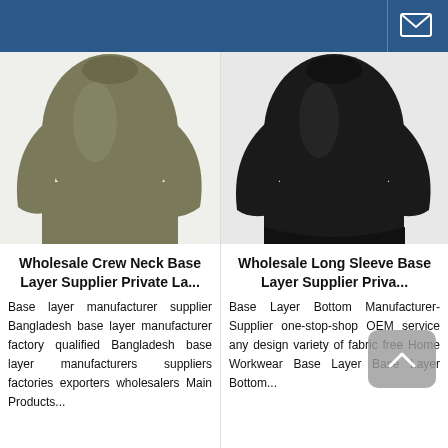[Figure (photo): Olive/khaki long-sleeve crew neck base layer shirt on a model torso, grey background]
Wholesale Crew Neck Base Layer Supplier Private La...
Base layer manufacturer supplier Bangladesh base layer manufacturer factory qualified Bangladesh base layer manufacturers suppliers factories exporters wholesalers Main Products...
[Figure (photo): Black long-sleeve base layer shirt on a model torso, white background]
Wholesale Long Sleeve Base Layer Supplier Priva...
Base Layer Bottom Manufacturer-Supplier one-stop-shop OEM service any design variety of fabric free Home Workwear Base Layer Base Layer Bottom...